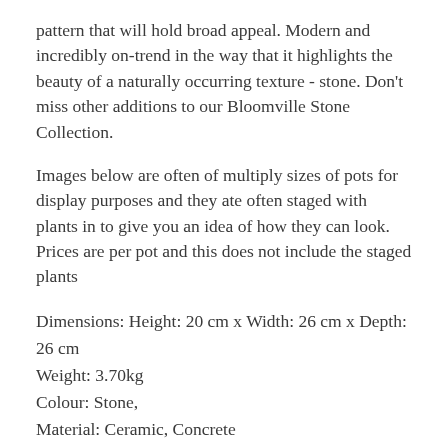pattern that will hold broad appeal. Modern and incredibly on-trend in the way that it highlights the beauty of a naturally occurring texture - stone. Don't miss other additions to our Bloomville Stone Collection.
Images below are often of multiply sizes of pots for display purposes and they ate often staged with plants in to give you an idea of how they can look. Prices are per pot and this does not include the staged plants
Dimensions: Height: 20 cm x Width: 26 cm x Depth: 26 cm
Weight: 3.70kg
Colour: Stone,
Material: Ceramic, Concrete
PLEASE NOTE: We are passionate about selling products that are made from a natural source or have a natural appearance, these specific products come with a rustic look and do have slight natural flaws and imperfections (concrete/wood etc) We do not provide further discounts on